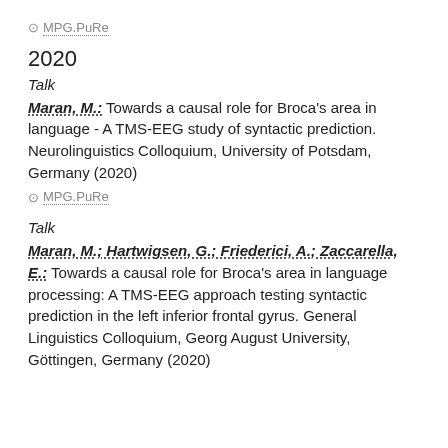⊙ MPG.PuRe
2020
Talk
Maran, M.: Towards a causal role for Broca's area in language - A TMS-EEG study of syntactic prediction. Neurolinguistics Colloquium, University of Potsdam, Germany (2020)
⊙ MPG.PuRe
Talk
Maran, M.; Hartwigsen, G.; Friederici, A.; Zaccarella, E.: Towards a causal role for Broca's area in language processing: A TMS-EEG approach testing syntactic prediction in the left inferior frontal gyrus. General Linguistics Colloquium, Georg August University, Göttingen, Germany (2020)